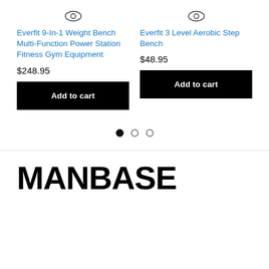[Figure (other): Eye/quick-view icon for product 1]
Everfit 9-In-1 Weight Bench Multi-Function Power Station Fitness Gym Equipment
$248.95
Add to cart
[Figure (other): Eye/quick-view icon for product 2]
Everfit 3 Level Aerobic Step Bench
$48.95
Add to cart
[Figure (other): Carousel pagination dots: one filled, two empty]
MANBASE